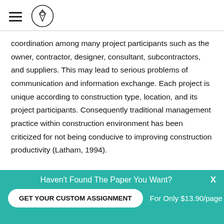coordination among many project participants such as the owner, contractor, designer, consultant, subcontractors, and suppliers. This may lead to serious problems of communication and information exchange. Each project is unique according to construction type, location, and its project participants. Consequently traditional management practice within construction environment has been criticized for not being conducive to improving construction productivity (Latham, 1994).
Haven't Found The Paper You Want? GET YOUR CUSTOM ASSIGNMENT For Only $13.90/page x